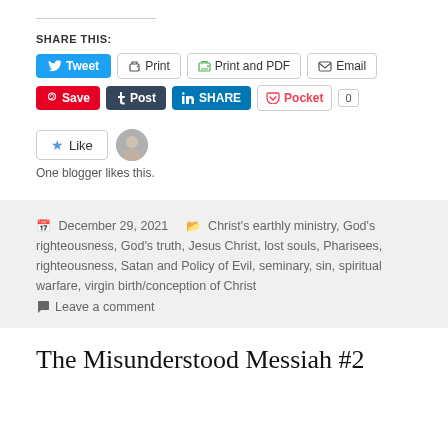SHARE THIS:
[Figure (screenshot): Social sharing buttons row 1: Tweet (blue), Print (outline), Print and PDF (outline), Email (outline)]
[Figure (screenshot): Social sharing buttons row 2: Save/Pinterest (red), Post/Tumblr (dark navy), SHARE/LinkedIn (blue), Pocket (outline with 0 count)]
[Figure (screenshot): Like button with star icon and blogger avatar photo]
One blogger likes this.
December 29, 2021   Christ's earthly ministry, God's righteousness, God's truth, Jesus Christ, lost souls, Pharisees, righteousness, Satan and Policy of Evil, seminary, sin, spiritual warfare, virgin birth/conception of Christ
Leave a comment
The Misunderstood Messiah #2